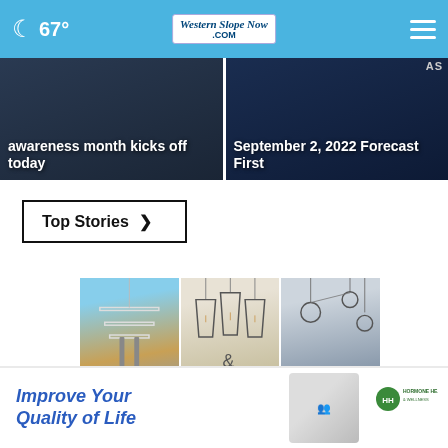67° Western Slope Now .com
awareness month kicks off today
September 2, 2022 Forecast First
Top Stories ›
[Figure (photo): Three panel lighting advertisement showing Modern, Craftsman, and Restoration lighting styles]
ONE SOURCE LIGHTING
Improve Your Quality of Life